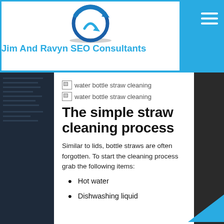Jim And Ravyn SEO Consultants
[Figure (logo): Jim And Ravyn SEO Consultants logo — blue circular arrow icon with shadow]
[Figure (photo): Broken image placeholder: water bottle straw cleaning]
[Figure (photo): Broken image placeholder: water bottle straw cleaning]
The simple straw cleaning process
Similar to lids, bottle straws are often forgotten. To start the cleaning process grab the following items:
Hot water
Dishwashing liquid